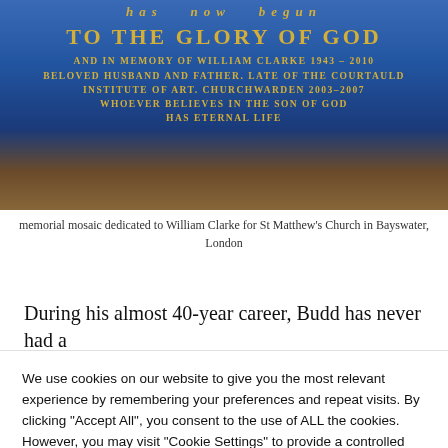[Figure (photo): Photo of a memorial mosaic with gold text on dark blue/grey stone background reading: 'has now begun / TO THE GLORY OF GOD / AND IN MEMORY OF WILLIAM CLARKE 1943–2010 / BELOVED HUSBAND AND FATHER. LATE OF THE COURTAULD / INSTITUTE OF ART. CHURCHWARDEN 2003–2007 / WHOEVER BELIEVES IN THE SON OF GOD / HAS ETERNAL LIFE']
memorial mosaic dedicated to William Clarke for St Matthew's Church in Bayswater, London
During his almost 40-year career, Budd has never had a period of more than two months when he didn't have work
We use cookies on our website to give you the most relevant experience by remembering your preferences and repeat visits. By clicking "Accept All", you consent to the use of ALL the cookies. However, you may visit "Cookie Settings" to provide a controlled consent.